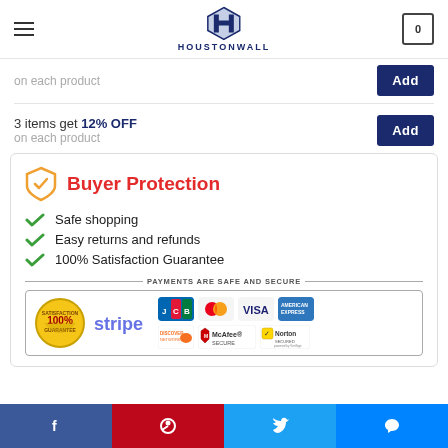[Figure (logo): HoustonWall logo with diamond H icon and text HOUSTONWALL]
3 items get 12% OFF on each product
Buyer Protection
Safe shopping
Easy returns and refunds
100% Satisfaction Guarantee
[Figure (infographic): Payments are safe and secure banner showing Stripe, JCB, MasterCard, Visa, AmericanExpress, Discover, McAfee Secure, Norton Secured logos and 100% Satisfaction Guarantee seal]
[Figure (infographic): Social media share buttons: Facebook, Pinterest, Twitter, Messenger]